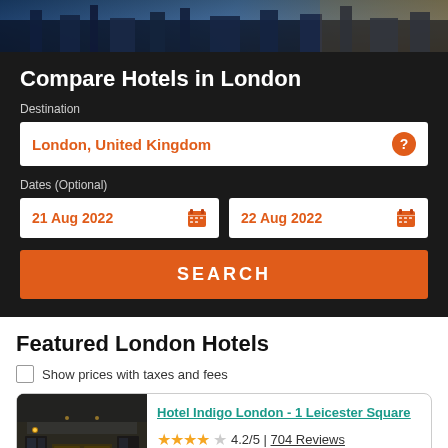[Figure (photo): City skyline hero image, dark blue/golden tones, London cityscape]
Compare Hotels in London
Destination
London, United Kingdom
Dates (Optional)
21 Aug 2022
22 Aug 2022
SEARCH
Featured London Hotels
Show prices with taxes and fees
[Figure (photo): Hotel entrance photo, dark facade with wooden door]
Hotel Indigo London - 1 Leicester Square
4.2/5 | 704 Reviews
0.58 mi (0.93km) from City Center